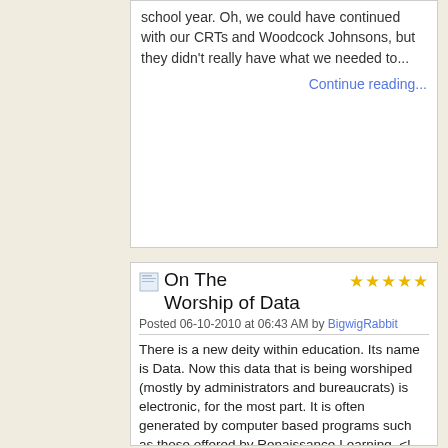school year. Oh, we could have continued with our CRTs and Woodcock Johnsons, but they didn't really have what we needed to...
Continue reading...
On The Worship of Data
Posted 06-10-2010 at 06:43 AM by BigwigRabbit
There is a new deity within education. Its name is Data. Now this data that is being worshiped (mostly by administrators and bureaucrats) is electronic, for the most part. It is often generated by computer based programs such as those offered by Renaissance Learning. <!--break-->
I wonder how many of those that worship at the altar of Data have actually looked closely at the questions the student's are asked in those...